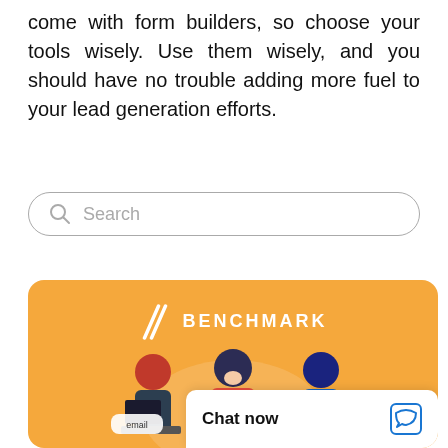come with form builders, so choose your tools wisely. Use them wisely, and you should have no trouble adding more fuel to your lead generation efforts.
[Figure (screenshot): Search bar with magnifying glass icon and placeholder text 'Search']
[Figure (screenshot): Benchmark email marketing card with orange background, Benchmark logo with slash marks, illustration of three people working at laptops, and partial text 'Em...' at bottom. A chat widget overlay shows 'Chat now' with a chat icon.]